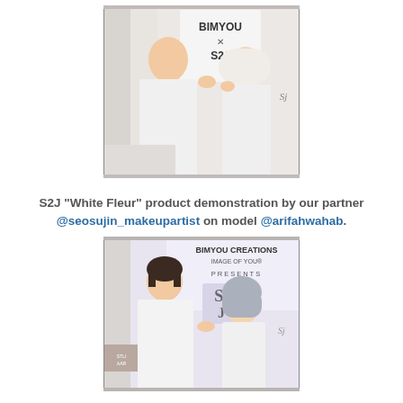[Figure (photo): A makeup artist in a white outfit applying makeup on a model wearing a white hijab, in front of a BIMYOU x S2J branded backdrop.]
S2J "White Fleur" product demonstration by our partner @seosujin_makeupartist on model @arifahwahab.
[Figure (photo): A makeup artist in a white outfit applying makeup on a model wearing a grey hijab, in front of a BIMYOU CREATIONS / IMAGE OF YOU PRESENTS S2J branded backdrop.]